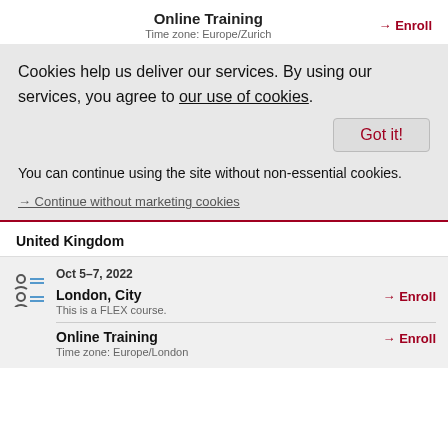Online Training
Time zone: Europe/Zurich
→ Enroll
Cookies help us deliver our services. By using our services, you agree to our use of cookies.
Got it!
You can continue using the site without non-essential cookies.
→ Continue without marketing cookies
United Kingdom
Oct 5–7, 2022
London, City
This is a FLEX course.
→ Enroll
Online Training
Time zone: Europe/London
→ Enroll